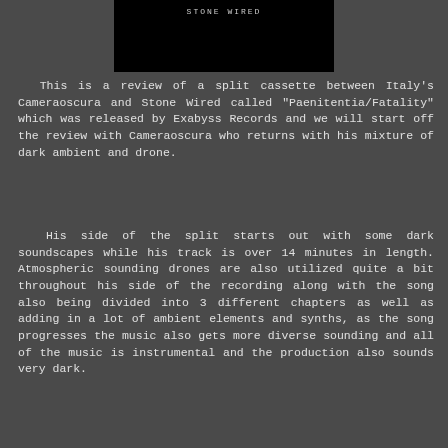[Figure (screenshot): Black image with faint white text reading 'STONE WIRED' at the top center]
This is a review of a split cassette between Italy's Cameraoscura and Stone Wired called "Paenitentia/Fatality" which was released by Exabyss Records and we will start off the review with Cameraoscura who returns with his mixture of dark ambient and drone.
His side of the split starts out with some dark soundscapes while his track is over 14 minutes in length. Atmospheric sounding drones are also utilized quite a bit throughout his side of the recording along with the song also being divided into 3 different chapters as well as adding in a lot of ambient elements and synths, as the song progresses the music also gets more diverse sounding and all of the music is instrumental and the production also sounds very dark.